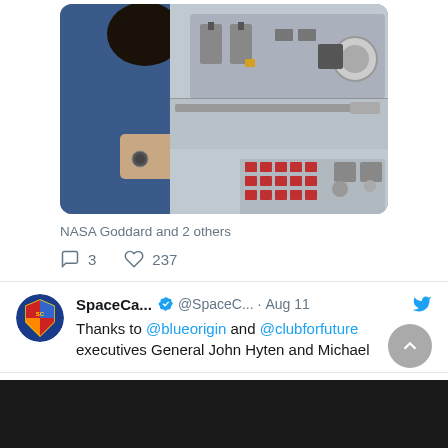[Figure (photo): A person in a blue jacket operating spacecraft control panel with switches and buttons]
NASA Goddard and 2 others
3  237
SpaceCa... @SpaceC... · Aug 11
Thanks to @blueorigin and @clubforfuture executives General John Hyten and Michael